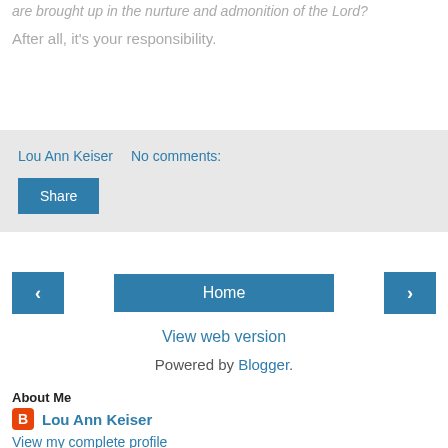are brought up in the nurture and admonition of the Lord?
After all, it’s your responsibility.
Lou Ann Keiser   No comments:
Share
Home
View web version
Powered by Blogger.
About Me
Lou Ann Keiser
View my complete profile